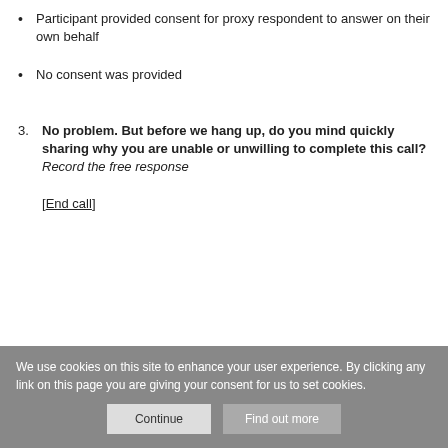Participant provided consent for proxy respondent to answer on their own behalf
No consent was provided
3. No problem. But before we hang up, do you mind quickly sharing why you are unable or unwilling to complete this call? Record the free response
[End call]
We use cookies on this site to enhance your user experience. By clicking any link on this page you are giving your consent for us to set cookies.